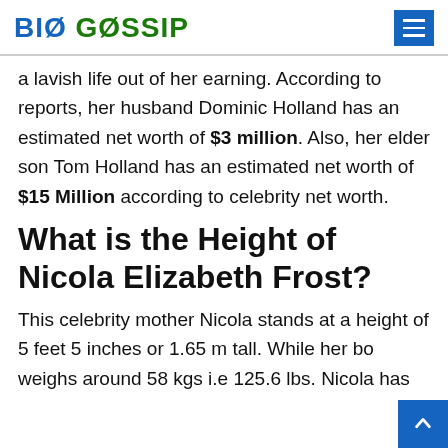BIO GOSSIP
a lavish life out of her earning. According to reports, her husband Dominic Holland has an estimated net worth of $3 million. Also, her elder son Tom Holland has an estimated net worth of $15 Million according to celebrity net worth.
What is the Height of Nicola Elizabeth Frost?
This celebrity mother Nicola stands at a height of 5 feet 5 inches or 1.65 m tall. While her bo weighs around 58 kgs i.e 125.6 lbs. Nicola has